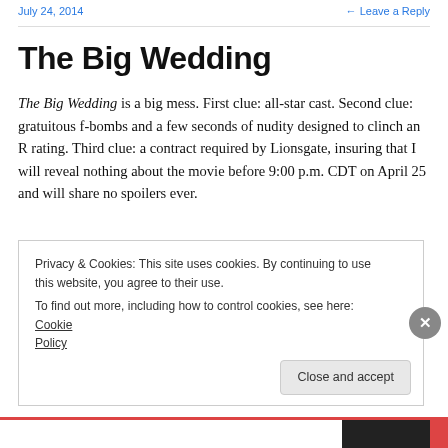July 24, 2014   ← Leave a Reply
The Big Wedding
The Big Wedding is a big mess. First clue: all-star cast. Second clue: gratuitous f-bombs and a few seconds of nudity designed to clinch an R rating. Third clue: a contract required by Lionsgate, insuring that I will reveal nothing about the movie before 9:00 p.m. CDT on April 25 and will share no spoilers ever.
Privacy & Cookies: This site uses cookies. By continuing to use this website, you agree to their use.
To find out more, including how to control cookies, see here: Cookie Policy
Close and accept